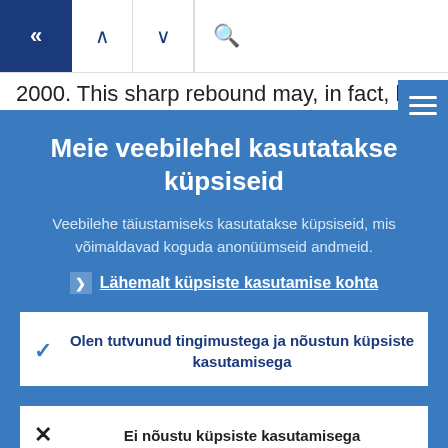Navigation bar with back, up, down, and search buttons
2000. This sharp rebound may, in fact, have been supported by more recent policy
Meie veebilehel kasutatakse küpsiseid
Veebilehe täiustamiseks kasutatakse küpsiseid, mis võimaldavad koguda anonüümseid andmeid.
▸  Lähemalt küpsiste kasutamise kohta
✓  Olen tutvunud tingimustega ja nõustun küpsiste kasutamisega
✕  Ei nõustu küpsiste kasutamisega